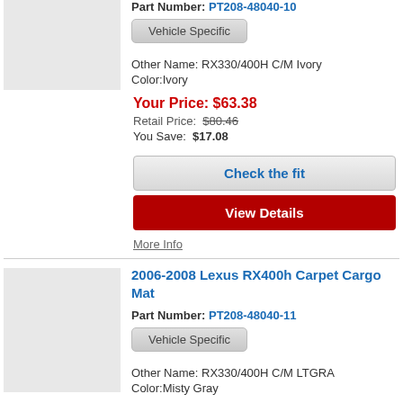Part Number: PT208-48040-10
Vehicle Specific
Other Name: RX330/400H C/M Ivory
Color:Ivory
Your Price: $63.38
Retail Price: $80.46
You Save: $17.08
Check the fit
View Details
More Info
2006-2008 Lexus RX400h Carpet Cargo Mat
Part Number: PT208-48040-11
Vehicle Specific
Other Name: RX330/400H C/M LTGRA
Color:Misty Gray